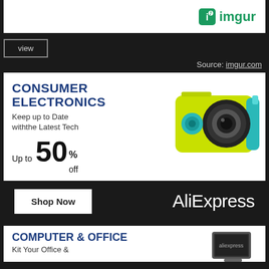[Figure (logo): imgur logo with green icon on white bar]
view
Source: imgur.com
[Figure (infographic): AliExpress Consumer Electronics advertisement banner. Text: CONSUMER ELECTRONICS, Keep up to Date withthe Latest Tech, Up to 50% off. Shows yellow/teal action camera. Bottom bar: Shop Now button and AliExpress logo.]
[Figure (infographic): AliExpress Computer & Office advertisement banner (partial). Text: COMPUTER & OFFICE, Kit Your Office &...]